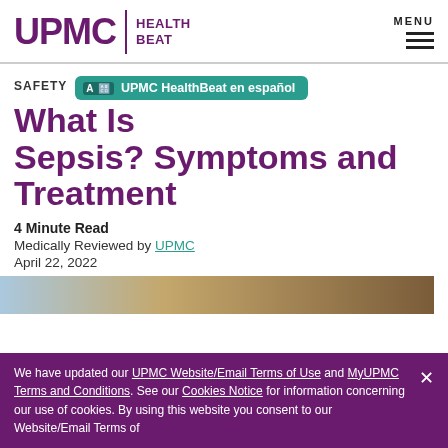UPMC | HEALTH BEAT — MENU
SAFETY
UPMC HealthBeat en español
What Is Sepsis? Symptoms and Treatment
4 Minute Read
Medically Reviewed by UPMC
April 22, 2022
[Figure (photo): Partial photo of a person, visible at bottom of page before cookie bar]
We have updated our UPMC Website/Email Terms of Use and MyUPMC Terms and Conditions. See our Cookies Notice for information concerning our use of cookies. By using this website you consent to our Website/Email Terms of